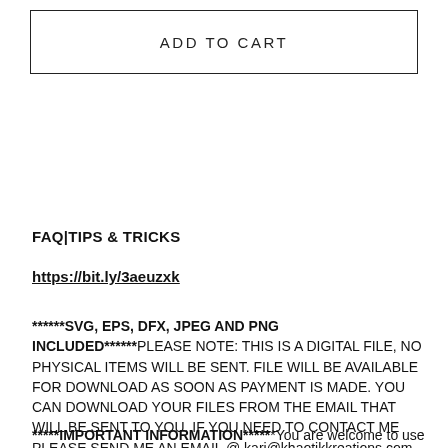[Figure (other): Add to Cart button — a rectangular bordered button with the text ADD TO CART centered inside]
FAQ|TIPS & TRICKS
https://bit.ly/3aeuzxk
******SVG, EPS, DFX, JPEG AND PNG INCLUDED******PLEASE NOTE: THIS IS A DIGITAL FILE, NO PHYSICAL ITEMS WILL BE SENT. FILE WILL BE AVAILABLE FOR DOWNLOAD AS SOON AS PAYMENT IS MADE. YOU CAN DOWNLOAD YOUR FILES FROM THE EMAIL THAT WILL BE SENT TO YOU. IF YOU NEED TO CONTACT ME PLEASE SEND ME AN EMAIL @ kari@khaotikkreations.com
*****IMPORTANT INFORMATION*******You are welcome to use